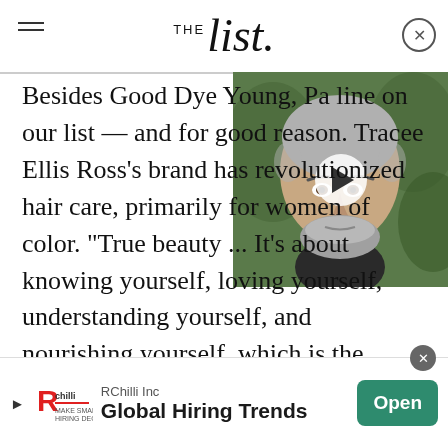THE list
[Figure (photo): Video thumbnail of a middle-aged man with salt-and-pepper stubble and shaved head, with a play button overlay, set against a green background]
Besides Good Dye Young, Pat[terson's] line on our list — and for good reason. Tracee Ellis Ross's brand has revolutionized hair care, primarily for women of color. "True beauty ... It's about knowing yourself, loving yourself, understanding yourself, and nourishing yourself, which is the message of the brand: Meet your hair, heart, self, and soul exactly
[Figure (other): Advertisement banner for RChilli Inc featuring logo, text 'Global Hiring Trends' and an 'Open' button]